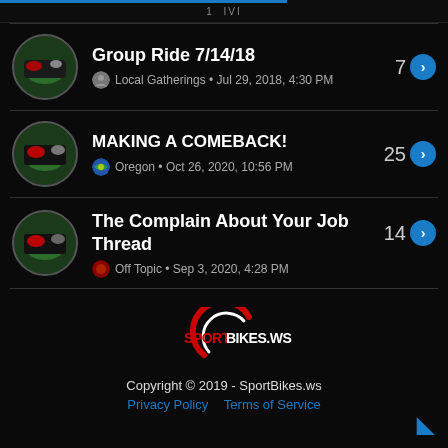1 IVI
Group Ride 7/14/18 | Local Gatherings • Jul 29, 2018, 4:30 PM | 7
MAKING A COMEBACK! | Oregon • Oct 26, 2020, 10:56 PM | 25
The Complain About Your Job Thread | Off Topic • Sep 3, 2020, 4:28 PM | 14
[Figure (logo): SportBikes.ws logo with red and white circular design]
Copyright © 2019 - SportBikes.ws
Privacy Policy   Terms of Service